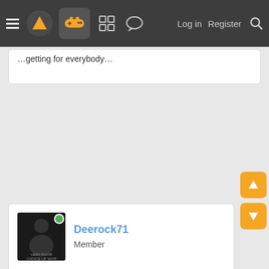Log in  Register
...getting for everybody...
Deerock71
Member